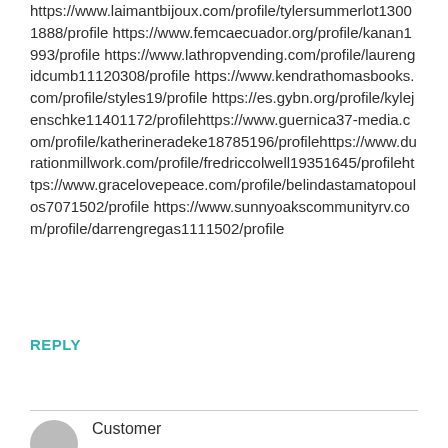https://www.laimantbijoux.com/profile/tylersummerlot13001888/profile https://www.femcaecuador.org/profile/kanan1993/profile https://www.lathropvending.com/profile/laurengidcumb11120308/profile https://www.kendrathomasbooks.com/profile/styles19/profile https://es.gybn.org/profile/kylejenschke11401172/profilehttps://www.guernica37-media.com/profile/katherineradeke18785196/profilehttps://www.durationmillwork.com/profile/fredriccolwell19351645/profilehttps://www.gracelovepeace.com/profile/belindastamatopoulos7071502/profile https://www.sunnyoakscommunityrv.com/profile/darrengregas1111502/profile
REPLY
Customer